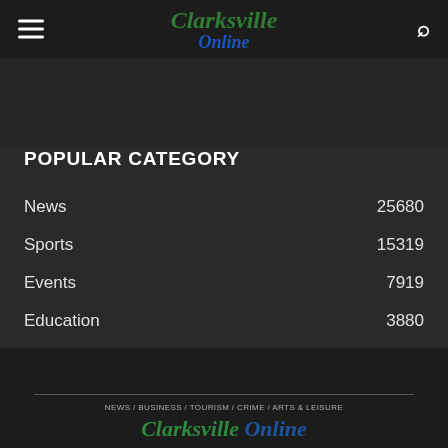Clarksville Online
POPULAR CATEGORY
News  25680
Sports  15319
Events  7919
Education  3880
Tech/Science  3484
Politics  3232
NEWS / BUSINESS / TOURISM / CRIME / ARTS & LEISURE  Clarksville Online